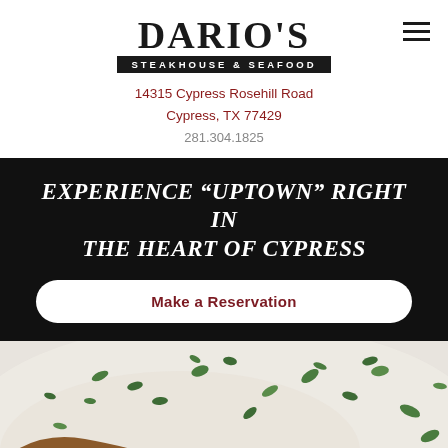DARIO'S STEAKHOUSE & SEAFOOD
14315 Cypress Rosehill Road
Cypress, TX 77429
281.304.1825
Experience "Uptown" right in the heart of Cypress
Make a Reservation
[Figure (photo): Close-up food photo of a cooked steak or meat dish garnished with fresh herbs on a white plate background]
ORDER ONLINE